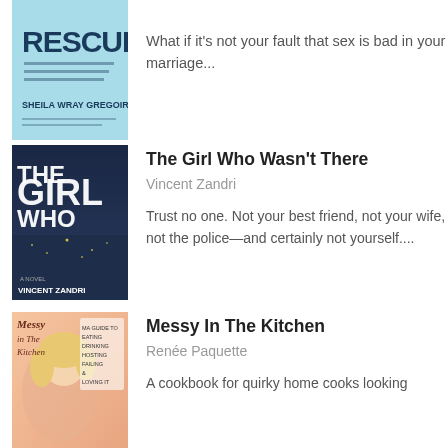[Figure (illustration): Book cover of 'The Great Sex Rescue' by Sheila Wray Gregoire — light blue cover with large word RESCUE]
What if it's not your fault that sex is bad in your marriage...
[Figure (illustration): Book cover of 'The Girl Who Wasn't There' by Vincent Zandri — dark blue/night city background with large white text]
The Girl Who Wasn't There
Vincent Zandri
Trust no one. Not your best friend, not your wife, not the police—and certainly not yourself....
[Figure (illustration): Book cover of 'Messy In The Kitchen' by Renée Paquette — woman with blonde hair smiling, colorful cover]
Messy In The Kitchen
Renée Paquette
A cookbook for quirky home cooks looking